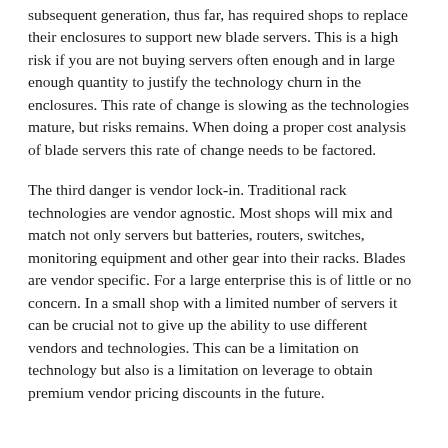subsequent generation, thus far, has required shops to replace their enclosures to support new blade servers. This is a high risk if you are not buying servers often enough and in large enough quantity to justify the technology churn in the enclosures. This rate of change is slowing as the technologies mature, but risks remains. When doing a proper cost analysis of blade servers this rate of change needs to be factored.
The third danger is vendor lock-in. Traditional rack technologies are vendor agnostic. Most shops will mix and match not only servers but batteries, routers, switches, monitoring equipment and other gear into their racks. Blades are vendor specific. For a large enterprise this is of little or no concern. In a small shop with a limited number of servers it can be crucial not to give up the ability to use different vendors and technologies. This can be a limitation on technology but also is a limitation on leverage to obtain premium vendor pricing discounts in the future.